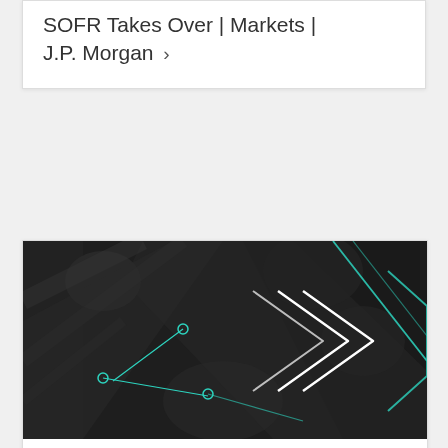SOFR Takes Over | Markets | J.P. Morgan >
[Figure (illustration): Dark themed abstract graphic with diagonal geometric shapes, teal/cyan circuit-line nodes on left side, and multiple white chevron/arrow lines on the right side against a black background]
Markets
FICC e-Trading Survey Results | Markets | J.P. Morgan >